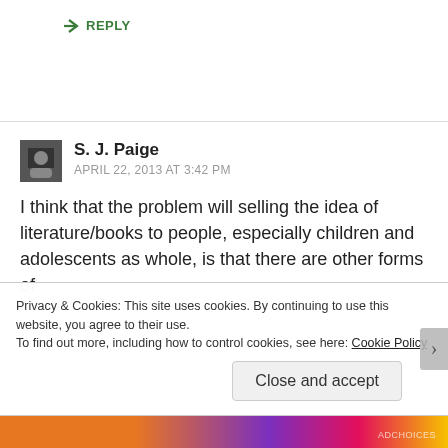↪ REPLY
S. J. Paige
APRIL 22, 2013 AT 3:42 PM
I think that the problem will selling the idea of literature/books to people, especially children and adolescents as whole, is that there are other forms of
Privacy & Cookies: This site uses cookies. By continuing to use this website, you agree to their use.
To find out more, including how to control cookies, see here: Cookie Policy
Close and accept